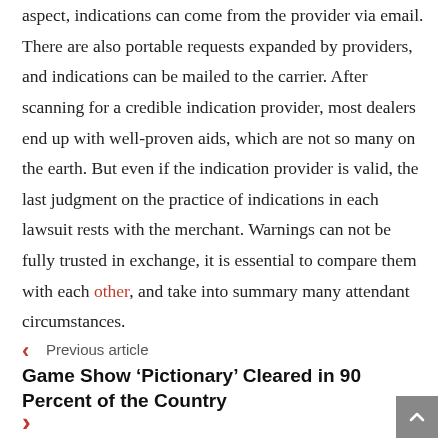aspect, indications can come from the provider via email. There are also portable requests expanded by providers, and indications can be mailed to the carrier. After scanning for a credible indication provider, most dealers end up with well-proven aids, which are not so many on the earth. But even if the indication provider is valid, the last judgment on the practice of indications in each lawsuit rests with the merchant. Warnings can not be fully trusted in exchange, it is essential to compare them with each other, and take into summary many attendant circumstances.
Previous article
Game Show ‘Pictionary’ Cleared in 90 Percent of the Country